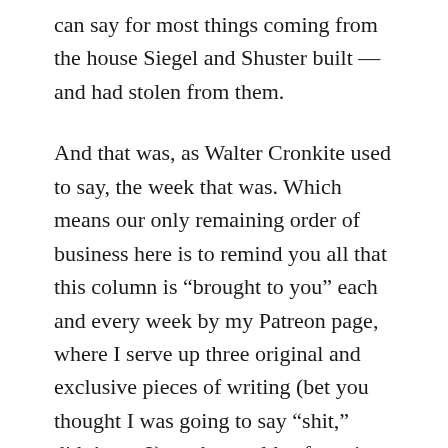can say for most things coming from the house Siegel and Shuster built — and had stolen from them.
And that was, as Walter Cronkite used to say, the week that was. Which means our only remaining order of business here is to remind you all that this column is "brought to you" each and every week by my Patreon page, where I serve up three original and exclusive pieces of writing (bet you thought I was going to say "shit," didn't you?) on the worlds of comics, films, television, literature, and politics weekly in exchange for as little as a buck a month from you good readers. Any support I get helps ensure a steady supply of free content both here and at my trashfilmguru movie site, so please take a moment to check it out and consider